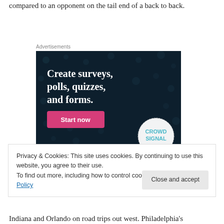compared to an opponent on the tail end of a back to back.
[Figure (advertisement): Crowdsignal advertisement: dark navy background with decorative dots, white bold text reading 'Create surveys, polls, quizzes, and forms.' with a pink 'Start now' button and Crowdsignal logo in bottom right corner.]
Privacy & Cookies: This site uses cookies. By continuing to use this website, you agree to their use.
To find out more, including how to control cookies, see here: Cookie Policy
Indiana and Orlando on road trips out west. Philadelphia's